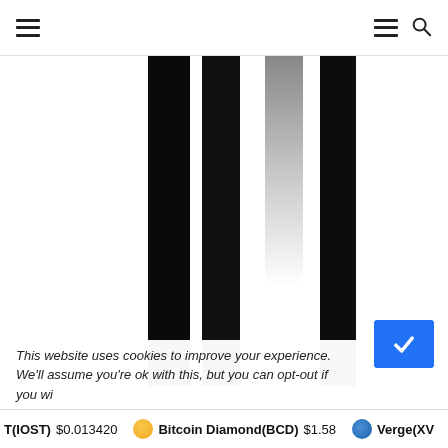Navigation header with hamburger menu and search icon
[Figure (other): Partial bar chart visible — four tall black vertical bars with one gradient gray bar, partially cropped at top, shown mid-scroll on a cryptocurrency website]
This website uses cookies to improve your experience. We'll assume you're ok with this, but you can opt-out if you wi...
T(IOST) $0.013420   Bitcoin Diamond(BCD) $1.58   Verge(XV...